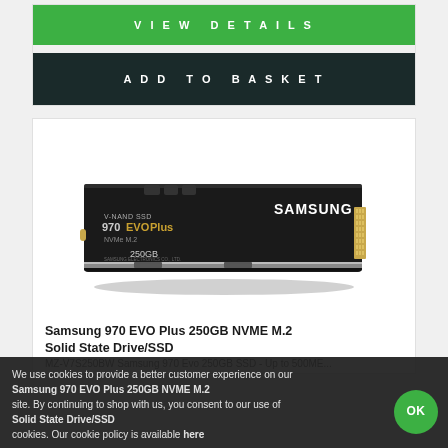VIEW DETAILS
ADD TO BASKET
[Figure (photo): Samsung 970 EVO Plus 250GB NVMe M.2 SSD product photo showing the black M.2 form factor drive with gold connector pins on the right, labeled V-NAND SSD 970 EVO Plus NVMe M.2 250GB, SAMSUNG branding on top right]
Samsung 970 EVO Plus 250GB NVME M.2 Solid State Drive/SSD
MZ-V7S250BW Samsung 970 Evo 250GB SSD - Up to 500ME...
We use cookies to provide a better customer experience on our site. By continuing to shop with us, you consent to our use of cookies. Our cookie policy is available here